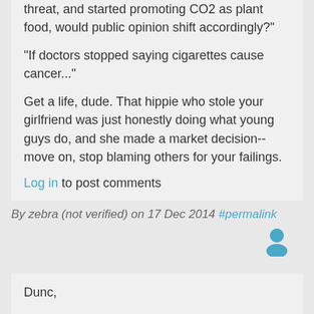threat, and started promoting CO2 as plant food, would public opinion shift accordingly?"
"If doctors stopped saying cigarettes cause cancer..."
Get a life, dude. That hippie who stole your girlfriend was just honestly doing what young guys do, and she made a market decision-- move on, stop blaming others for your failings.
Log in to post comments
By zebra (not verified) on 17 Dec 2014 #permalink
Dunc,
NEI? Hardly an objective source.
But whatever the global statistics, the question of actually building a NPP in a particular US State *is* affected by the public's opinion. That opinion